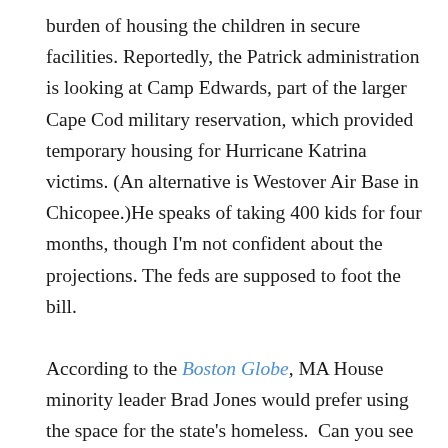burden of housing the children in secure facilities. Reportedly, the Patrick administration is looking at Camp Edwards, part of the larger Cape Cod military reservation, which provided temporary housing for Hurricane Katrina victims. (An alternative is Westover Air Base in Chicopee.)He speaks of taking 400 kids for four months, though I'm not confident about the projections. The feds are supposed to foot the bill.

According to the Boston Globe, MA House minority leader Brad Jones would prefer using the space for the state's homeless.  Can you see rounding up the homeless on the streets of Boston or Lowell and putting them in barracks on Cape Cod? State policy now favors finding permanent housing for the chronically